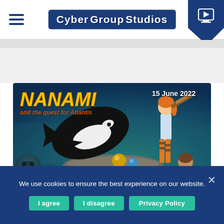Cyber Group Studios — navigation header with hamburger menu and TV/play icon
[Figure (illustration): Nanami and the Quest for Atlantis promotional banner featuring animated characters, an orca whale, underwater ruins, with title text 'NANAMI and the quest for Atlantis' in stylized font and date '15 June 2022']
We use cookies to ensure the best experience on our website.
I agree
I disagree
Privacy Policy